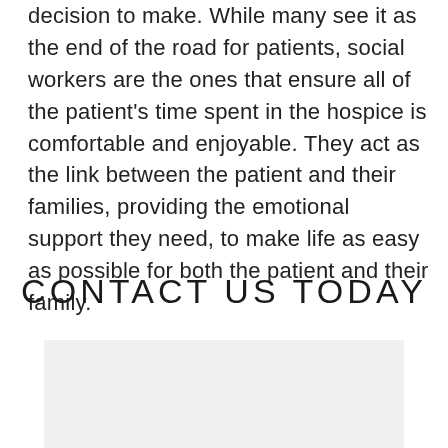decision to make. While many see it as the end of the road for patients, social workers are the ones that ensure all of the patient's time spent in the hospice is comfortable and enjoyable. They act as the link between the patient and their families, providing the emotional support they need, to make life as easy as possible for both the patient and their family.
CONTACT US TODAY
[Figure (other): A light grey form input box area]